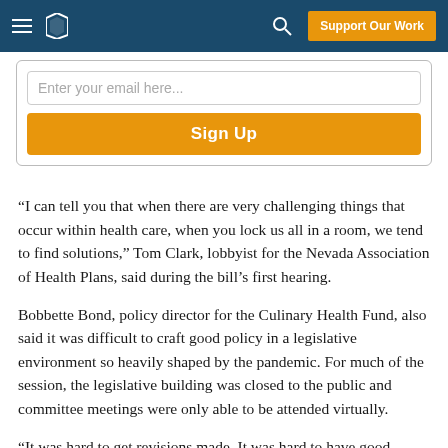Nevada Independent — Support Our Work
Enter your email here...
Sign Up
“I can tell you that when there are very challenging things that occur within health care, when you lock us all in a room, we tend to find solutions,” Tom Clark, lobbyist for the Nevada Association of Health Plans, said during the bill’s first hearing.
Bobbette Bond, policy director for the Culinary Health Fund, also said it was difficult to craft good policy in a legislative environment so heavily shaped by the pandemic. For much of the session, the legislative building was closed to the public and committee meetings were only able to be attended virtually.
“It was hard to get revisions made. It was hard to have good